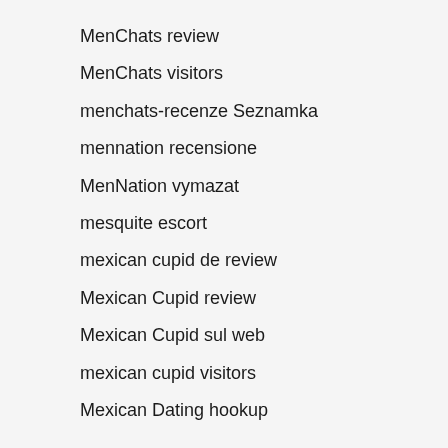MenChats review
MenChats visitors
menchats-recenze Seznamka
mennation recensione
MenNation vymazat
mesquite escort
mexican cupid de review
Mexican Cupid review
Mexican Cupid sul web
mexican cupid visitors
Mexican Dating hookup